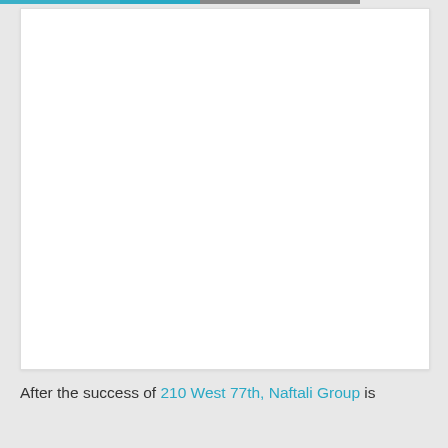[Figure (photo): Large white/blank image placeholder area with thin border]
After the success of 210 West 77th, Naftali Group is